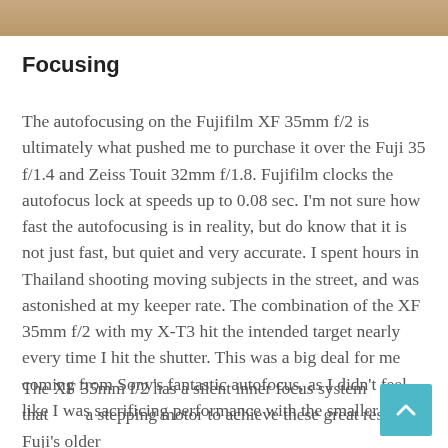[Figure (photo): Top strip showing a cropped photograph, likely a camera or outdoor scene with warm tan/brown tones]
Focusing
The autofocusing on the Fujifilm XF 35mm f/2 is ultimately what pushed me to purchase it over the Fuji 35 f/1.4 and Zeiss Touit 32mm f/1.8. Fujifilm clocks the autofocus lock at speeds up to 0.08 sec. I'm not sure how fast the autofocusing is in reality, but do know that it is not just fast, but quiet and very accurate. I spent hours in Thailand shooting moving subjects in the street, and was astonished at my keeper rate. The combination of the XF 35mm f/2 with my X-T3 hit the intended target nearly every time I hit the shutter. This was a big deal for me coming from Sony's fantastic autofocus, as I didn't feel like I was sacrificing performance with the smaller setup.
The XF 35mm f/2 has a silent inner focus system that uses a stepping motor to achieve these great results. Fuji's older